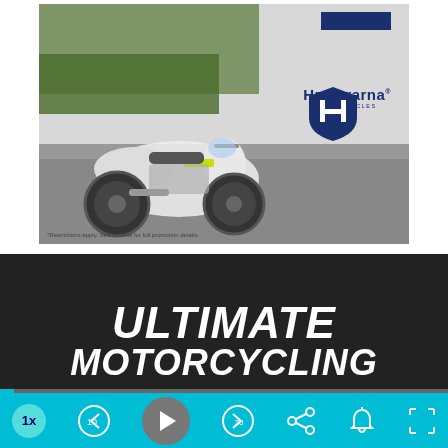[Figure (photo): Husqvarna Motorcycles advertisement showing a white and yellow adventure motorcycle on a road, with the Husqvarna shield logo and brand name in navy blue, and a blue promotional bar at top right. Fine print: *Restrictions apply. See website for full promotion details.]
[Figure (screenshot): Video player interface with dark background showing 'ULTIMATE MOTORCYCLING' logo in white italic bold text. Below is a progress bar and a teal/cyan controls bar with playback controls: 1x speed button, rewind 10s, play button, forward 30s, share, notification bell, and fullscreen button.]